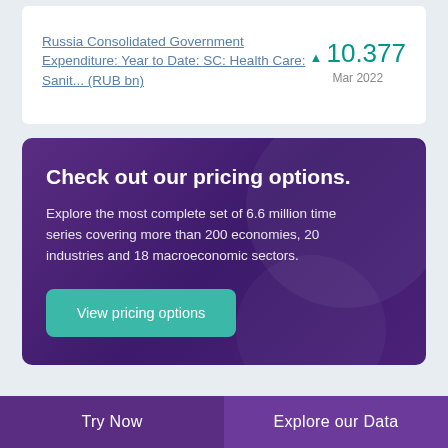Russia Consolidated Government Expenditure: Year to Date: SC: Health Care: Sanit... (RUB bn) | 10.377 | Mar 2022
Check out our pricing options.
Explore the most complete set of 6.6 million time series covering more than 200 economies, 20 industries and 18 macroeconomic sectors.
View pricing options
Try Now | Explore our Data